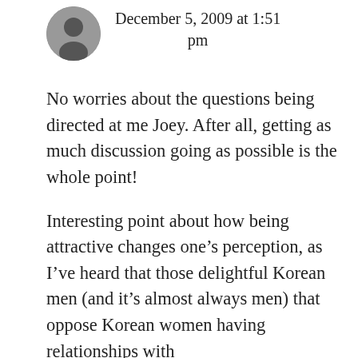[Figure (photo): Small circular avatar photo of a person in black and white]
December 5, 2009 at 1:51 pm
No worries about the questions being directed at me Joey. After all, getting as much discussion going as possible is the whole point!
Interesting point about how being attractive changes one’s perception, as I’ve heard that those delightful Korean men (and it’s almost always men) that oppose Korean women having relationships with